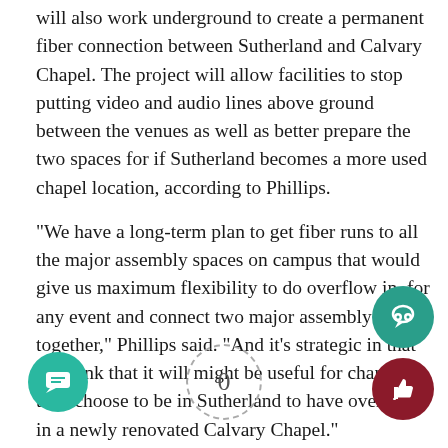will also work underground to create a permanent fiber connection between Sutherland and Calvary Chapel. The project will allow facilities to stop putting video and audio lines above ground between the venues as well as better prepare the two spaces for if Sutherland becomes a more used chapel location, according to Phillips.
“We have a long-term plan to get fiber runs to all the major assembly spaces on campus that would give us maximum flexibility to do overflow in, for any event and connect two major assembly spaces together,” Phillips said. “And it’s strategic in that we think that it will might be useful for chapel if they choose to be in Sutherland to have overflow in a newly renovated Calvary Chapel.”
[Figure (other): Three UI buttons: a teal chat/message button (bottom left), a teal comment bubble button (bottom right upper), a dark red thumbs-up button (bottom right lower), and a dashed circle with '0' count in the center bottom.]